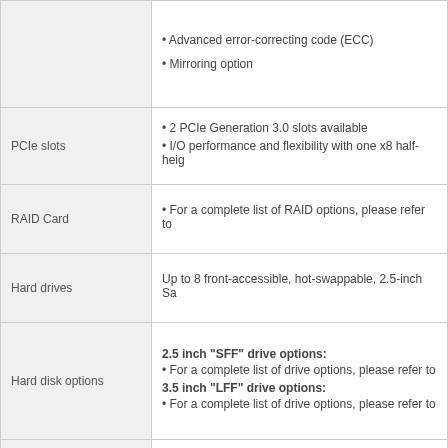| Feature | Description |
| --- | --- |
|  | • Advanced error-correcting code (ECC)
• Mirroring option |
| PCIe slots | • 2 PCIe Generation 3.0 slots available
• I/O performance and flexibility with one x8 half-height... |
| RAID Card | • For a complete list of RAID options, please refer to... |
| Hard drives | Up to 8 front-accessible, hot-swappable, 2.5-inch Sa... |
| Hard disk options | 2.5 inch "SFF" drive options:
• For a complete list of drive options, please refer to...
3.5 inch "LFF" drive options:
• For a complete list of drive options, please refer to... |
| Cisco [Double] Flash (Flex...) | • The server supports up to two internal 16GB Cisco...
• The first SD card is preloaded with four virtual drive... Host Upgrade Utility, the Cisco C-Series server drive... SD card is blank and can be used to mirror the first. |